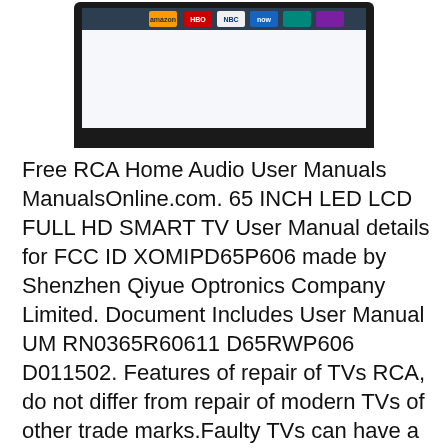[Figure (photo): Photo of a flat-screen smart TV (65-inch LED LCD) on a white background, showing colorful streaming app icons on the screen including Amazon, NBC, and others. The TV has a thin black bezel and two stand legs.]
Free RCA Home Audio User Manuals ManualsOnline.com. 65 INCH LED LCD FULL HD SMART TV User Manual details for FCC ID XOMIPD65P606 made by Shenzhen Qiyue Optronics Company Limited. Document Includes User Manual UM RN0365R60611 D65RWP606 D011502. Features of repair of TVs RCA, do not differ from repair of modern TVs of other trade marks.Faulty TVs can have a variety of character, because the TV device is complex, and its work